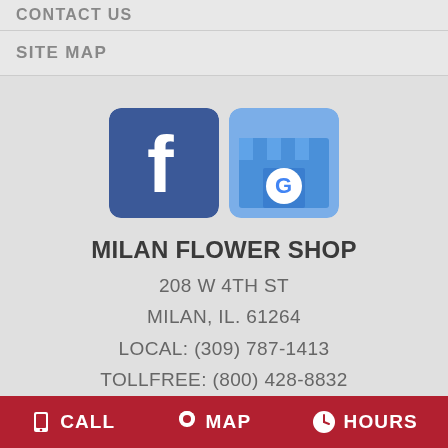CONTACT US
SITE MAP
[Figure (logo): Facebook logo icon (blue square with white f) and Google My Business logo icon (blue/light-blue storefront with G)]
MILAN FLOWER SHOP
208 W 4TH ST
MILAN, IL. 61264
LOCAL: (309) 787-1413
TOLLFREE: (800) 428-8832
ALL PRICES SHOWN IN US DOLLARS
CALL   MAP   HOURS